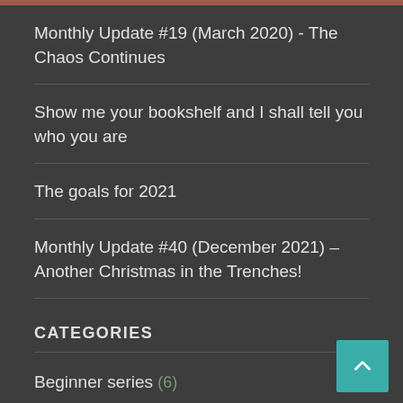Monthly Update #19 (March 2020) - The Chaos Continues
Show me your bookshelf and I shall tell you who you are
The goals for 2021
Monthly Update #40 (December 2021) – Another Christmas in the Trenches!
CATEGORIES
Beginner series (6)
Crypto (1)